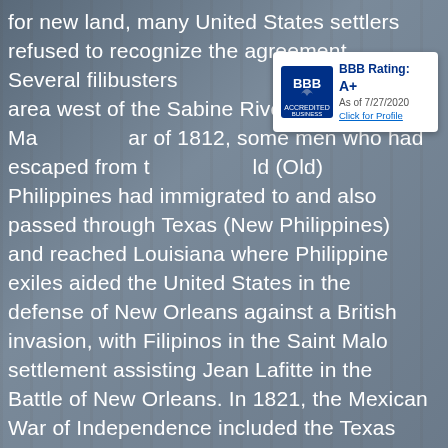for new land, many United States settlers refused to recognize the agreement. Several filibusters attempted to invade the area west of the Sabine River. Ma... War of 1812, some men who had escaped from th... ld (Old) Philippines had immigrated to and also passed through Texas (New Philippines) and reached Louisiana where Philippine exiles aided the United States in the defense of New Orleans against a British invasion, with Filipinos in the Saint Malo settlement assisting Jean Lafitte in the Battle of New Orleans. In 1821, the Mexican War of Independence included the Texas territory, which became part of Mexico. Due to its low population, the territory was assigned to other states and territories of Mexico; the core territory was part of the state of Coahuila y Tejas, but other parts of today's Texas were part of Tamaulipas, Chihuahua, or the Mexican Territory of Santa Fe de Nuevo México.
[Figure (logo): BBB Accredited Business badge showing BBB Rating: A+ as of 7/27/2020 with Click for Profile link]